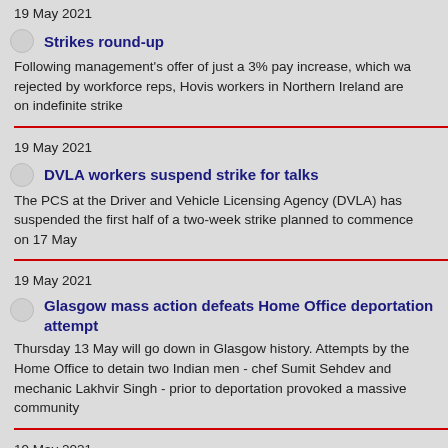19 May 2021
Strikes round-up
Following management's offer of just a 3% pay increase, which was rejected by workforce reps, Hovis workers in Northern Ireland are on indefinite strike
19 May 2021
DVLA workers suspend strike for talks
The PCS at the Driver and Vehicle Licensing Agency (DVLA) has suspended the first half of a two-week strike planned to commence on 17 May
19 May 2021
Glasgow mass action defeats Home Office deportation attempt
Thursday 13 May will go down in Glasgow history. Attempts by the Home Office to detain two Indian men - chef Sumit Sehdev and mechanic Lakhvir Singh - prior to deportation provoked a massive community
19 May 2021